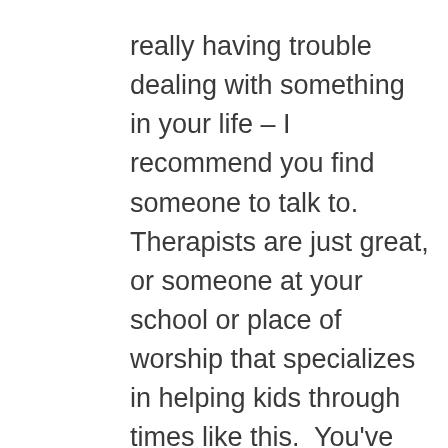really having trouble dealing with something in your life – I recommend you find someone to talk to.  Therapists are just great, or someone at your school or place of worship that specializes in helping kids through times like this.  You've always got me, but there's no substitute for face-to-face talking.

Then of course, if you just need someone to cuddle with who'll tell you you're the most wonderful thing in the world, of course I'll recommend you